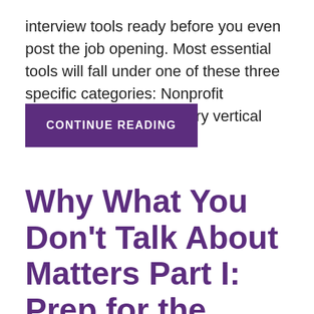interview tools ready before you even post the job opening. Most essential tools will fall under one of these three specific categories: Nonprofit organizations across every vertical have always
CONTINUE READING
Why What You Don’t Talk About Matters Part I: Prep for the Hiring Process